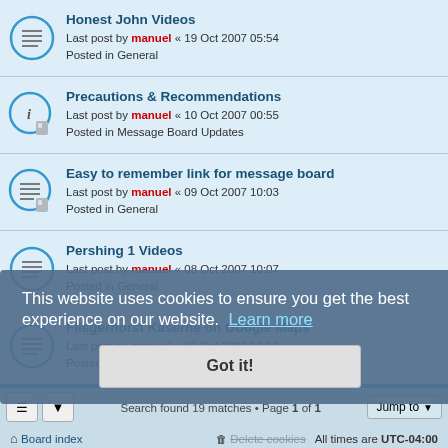Honest John Videos — Last post by manuel « 19 Oct 2007 05:54 — Posted in General
Precautions & Recommendations — Last post by manuel « 10 Oct 2007 00:55 — Posted in Message Board Updates
Easy to remember link for message board — Last post by manuel « 09 Oct 2007 10:03 — Posted in General
Pershing 1 Videos — Last post by manuel « 08 Oct 2007 10:07 — Posted in General
Fliegerhorst Kaserne on Google Maps — Last post by manuel « 05 Oct 2007 17:17 — Posted in General
Search found 19 matches • Page 1 of 1
Jump to
Board index
Delete cookies   All times are UTC-04:00
Powered by phpBB® Forum Software © phpBB Limited
Privacy | Terms
This website uses cookies to ensure you get the best experience on our website. Learn more
Got it!